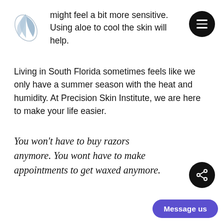[Figure (logo): Precision Skin Institute logo: overlapping leaf/petal shapes in blue and gray tones]
[Figure (other): Black circular hamburger menu button with three white horizontal lines]
might feel a bit more sensitive. Using aloe to cool the skin will help.
Living in South Florida sometimes feels like we only have a summer season with the heat and humidity. At Precision Skin Institute, we are here to make your life easier.
You won't have to buy razors anymore. You wont have to make appointments to get waxed anymore.
[Figure (other): Black circular share button with white share icon]
Message us